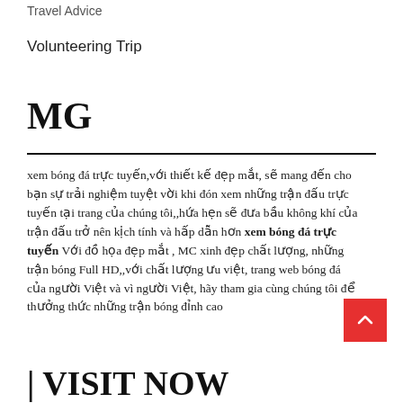Travel Advice
Volunteering Trip
MG
xem bóng đá trực tuyến,với thiết kế đẹp mắt, sẽ mang đến cho bạn sự trải nghiệm tuyệt vời khi đón xem những trận đấu trực tuyến tại trang của chúng tôi,,hứa hẹn sẽ đưa bầu không khí của trận đấu trở nên kịch tính và hấp dẫn hơn xem bóng đá trực tuyến Với đồ họa đẹp mắt , MC xinh đẹp chất lượng, những trận bóng Full HD,,với chất lượng ưu việt, trang web bóng đá của người Việt và vì người Việt, hãy tham gia cùng chúng tôi để thưởng thức những trận bóng đỉnh cao
| VISIT NOW